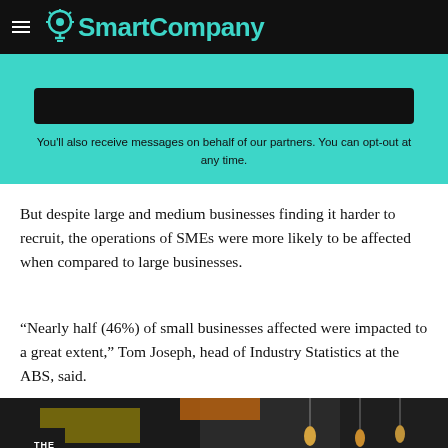SmartCompany
You'll also receive messages on behalf of our partners. You can opt-out at any time.
But despite large and medium businesses finding it harder to recruit, the operations of SMEs were more likely to be affected when compared to large businesses.
“Nearly half (46%) of small businesses affected were impacted to a great extent,” Tom Joseph, head of Industry Statistics at the ABS, said.
[Figure (photo): Interior photo of a cafe or restaurant with pendant Edison bulb lights hanging from a dark ceiling, yellow and colorful wall mural visible in background]